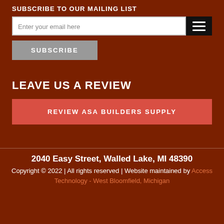SUBSCRIBE TO OUR MAILING LIST
Enter your email here
SUBSCRIBE
LEAVE US A REVIEW
REVIEW ASA BUILDERS SUPPLY
2040 Easy Street, Walled Lake, MI 48390
Copyright © 2022 | All rights reserved | Website maintained by Access Technology - West Bloomfield, Michigan